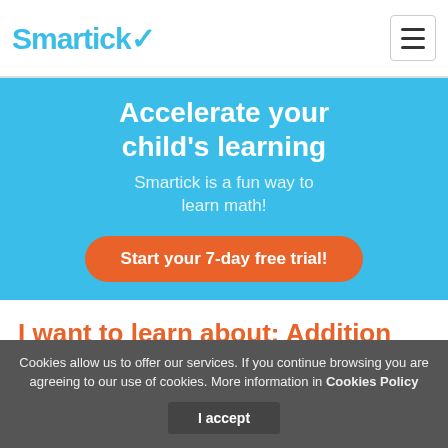Smartick
Accelerate your child's learning
Smartick is a fun way to learn math!
Start your 7-day free trial!
I want to learn about: Addition and Subtraction
Cookies allow us to offer our services. If you continue browsing you are agreeing to our use of cookies. More information in Cookies Policy
I accept